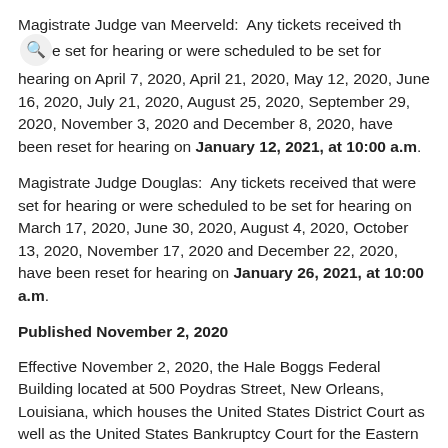Magistrate Judge van Meerveld:  Any tickets received that were set for hearing or were scheduled to be set for hearing on April 7, 2020, April 21, 2020, May 12, 2020, June 16, 2020, July 21, 2020, August 25, 2020, September 29, 2020, November 3, 2020 and December 8, 2020, have been reset for hearing on January 12, 2021, at 10:00 a.m.
Magistrate Judge Douglas:  Any tickets received that were set for hearing or were scheduled to be set for hearing on March 17, 2020, June 30, 2020, August 4, 2020, October 13, 2020, November 17, 2020 and December 22, 2020, have been reset for hearing on January 26, 2021, at 10:00 a.m.
Published November 2, 2020
Effective November 2, 2020, the Hale Boggs Federal Building located at 500 Poydras Street, New Orleans, Louisiana, which houses the United States District Court as well as the United States Bankruptcy Court for the Eastern District of Louisiana, is open to the general public for limited purposes. Please consult